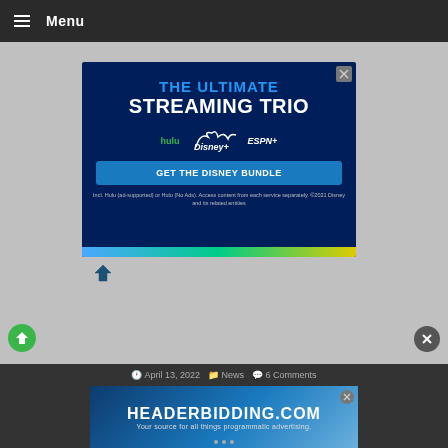≡ Menu
[Figure (screenshot): Disney Bundle advertisement with dark blue background showing 'THE ULTIMATE STREAMING TRIO' headline with Hulu, Disney+, and ESPN+ logos, a 'GET THE DISNEY BUNDLE' CTA button, and small disclaimer text. Below is a colorful gradient stripe.]
[Figure (screenshot): HEADERBIDDING.COM advertisement banner at the bottom of the page with text 'Your source for all things programmatic advertising.']
April 13, 2022   News   6 Comments